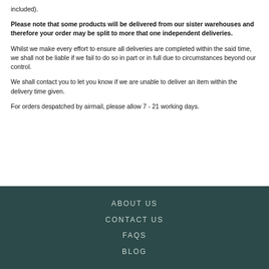included).
Please note that some products will be delivered from our sister warehouses and therefore your order may be split to more that one independent deliveries.
Whilst we make every effort to ensure all deliveries are completed within the said time, we shall not be liable if we fail to do so in part or in full due to circumstances beyond our control.
We shall contact you to let you know if we are unable to deliver an item within the delivery time given.
For orders despatched by airmail, please allow 7 - 21 working days.
ABOUT US
CONTACT US
FAQS
BLOG